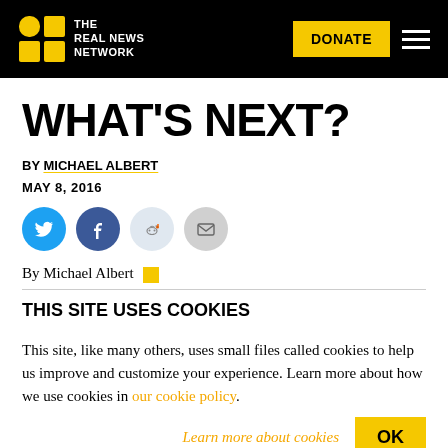THE REAL NEWS NETWORK — DONATE
WHAT'S NEXT?
BY MICHAEL ALBERT
MAY 8, 2016
[Figure (illustration): Social share buttons: Twitter (blue), Facebook (blue), Reddit (light blue), Email (grey)]
By Michael Albert
THIS SITE USES COOKIES
This site, like many others, uses small files called cookies to help us improve and customize your experience. Learn more about how we use cookies in our cookie policy.
Learn more about cookies   OK